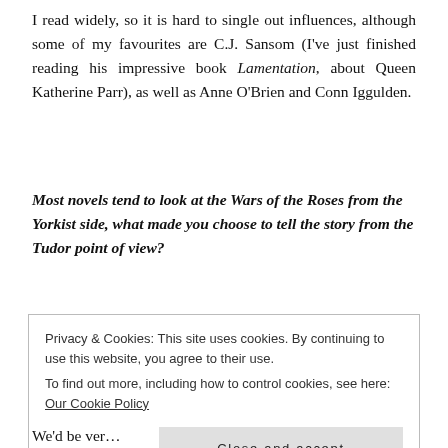I read widely, so it is hard to single out influences, although some of my favourites are C.J. Sansom (I've just finished reading his impressive book Lamentation, about Queen Katherine Parr), as well as Anne O'Brien and Conn Iggulden.
Most novels tend to look at the Wars of the Roses from the Yorkist side, what made you choose to tell the story from the Tudor point of view?
Privacy & Cookies: This site uses cookies. By continuing to use this website, you agree to their use. To find out more, including how to control cookies, see here: Our Cookie Policy
Close and accept
We'd be very much...